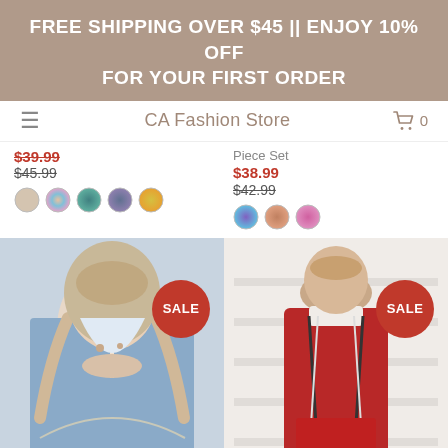FREE SHIPPING OVER $45 || ENJOY 10% OFF FOR YOUR FIRST ORDER
CA Fashion Store
$39.99 (strikethrough)
$45.99 (strikethrough)
Piece Set
$38.99
$42.99 (strikethrough)
[Figure (photo): Woman wearing light blue sweatshirt with chain necklace, with SALE badge]
[Figure (photo): Woman wearing red ribbed turtleneck sweater with striped details, with SALE badge]